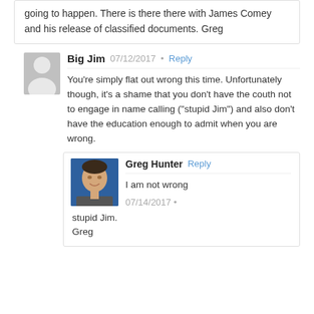going to happen. There is there there with James Comey and his release of classified documents. Greg
Big Jim  07/12/2017  •  Reply
You're simply flat out wrong this time. Unfortunately though, it's a shame that you don't have the couth not to engage in name calling ("stupid Jim") and also don't have the education enough to admit when you are wrong.
Greg Hunter  Reply
I am not wrong
stupid Jim.
Greg
07/14/2017  •